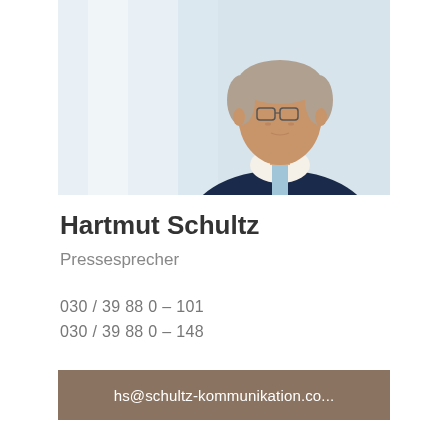[Figure (photo): Professional headshot of Hartmut Schultz, a middle-aged man wearing a navy suit and light blue tie, photographed against a light background. Only upper body and head visible, partially cropped at top.]
Hartmut Schultz
Pressesprecher
030 / 39 88 0 - 101
030 / 39 88 0 - 148
hs@schultz-kommunikation.co...
[Figure (photo): Professional headshot of a younger man with dark hair, wearing dark clothing, photographed against a light background. Only top of head and partial face visible at bottom of page.]